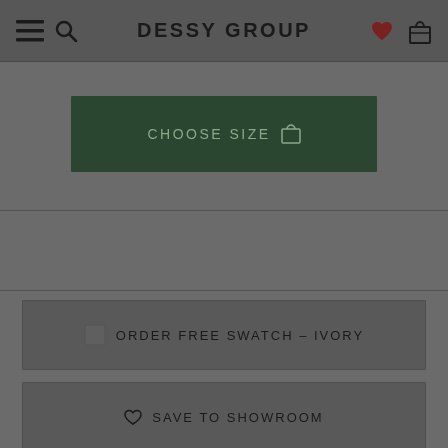DESSY GROUP
CHOOSE SIZE
ORDER FREE SWATCH – IVORY
SAVE TO SHOWROOM
CONTACT STYLIST